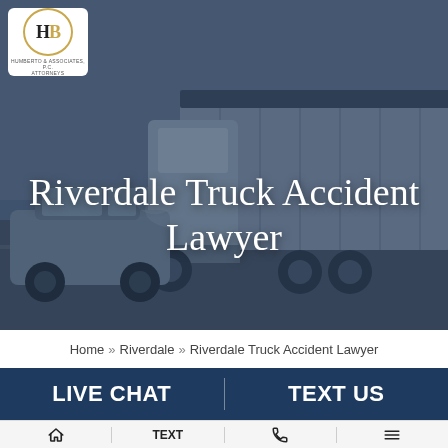[Figure (photo): Hero background photo of a truck accident scene — a large semi-truck colliding with a smaller car on a road, with a dark blue/gray overlay tint. A law firm logo (HB in a gold circle) appears in the top-left corner on a white rounded rectangle.]
Riverdale Truck Accident Lawyer
Home » Riverdale » Riverdale Truck Accident Lawyer
LIVE CHAT
TEXT US
Home | TEXT | Phone | Menu